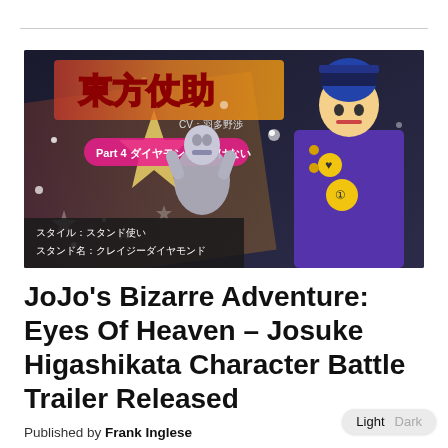[Figure (screenshot): Promotional screenshot from JoJo's Bizarre Adventure: Eyes of Heaven game showing Josuke Higashikata character artwork with Japanese text. The image shows a stylized anime character in a purple school uniform with a pompadour hairstyle, alongside his Stand 'Crazy Diamond'. Japanese text reads '東方仗助' (Higashikata Josuke) and the Part 4 subtitle in pink. Bottom text: スタイル：スタンド使い, スタンド名：クレイジーダイヤモンド]
JoJo's Bizarre Adventure: Eyes Of Heaven – Josuke Higashikata Character Battle Trailer Released
Published by Frank Inglese